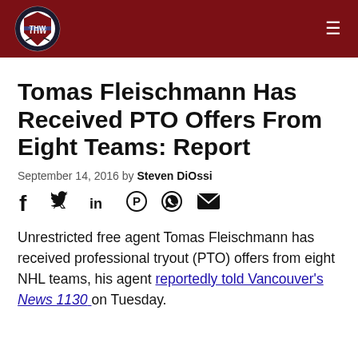THW
Tomas Fleischmann Has Received PTO Offers From Eight Teams: Report
September 14, 2016 by Steven DiOssi
[Figure (infographic): Social sharing icons: Facebook, Twitter, LinkedIn, Pinterest, WhatsApp, Email]
Unrestricted free agent Tomas Fleischmann has received professional tryout (PTO) offers from eight NHL teams, his agent reportedly told Vancouver's News 1130 on Tuesday.